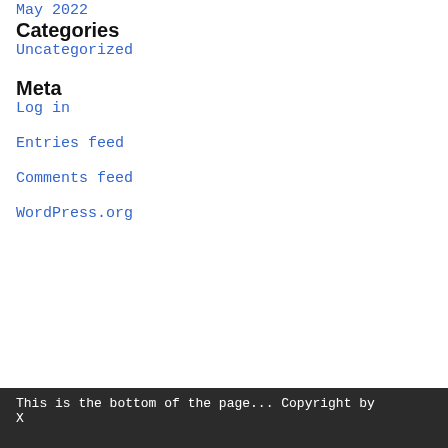May 2022
Categories
Uncategorized
Meta
Log in
Entries feed
Comments feed
WordPress.org
This is the bottom of the page... Copyright by X